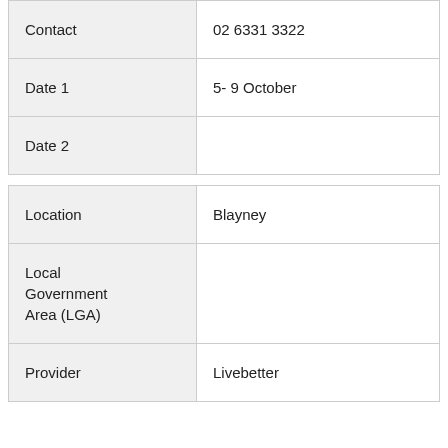| Contact | 02 6331 3322 |
| Date 1 | 5- 9 October |
| Date 2 |  |
| Location | Blayney |
| Local Government Area (LGA) |  |
| Provider | Livebetter |